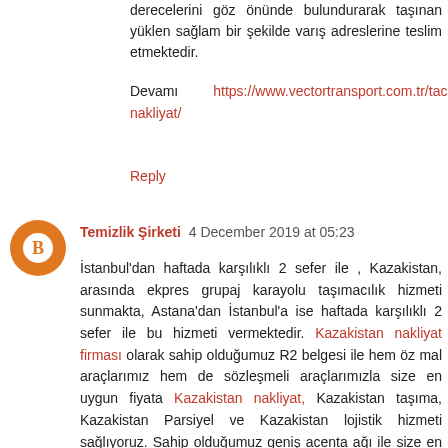derecelerini göz önünde bulundurarak taşınan yüklen sağlam bir şekilde varış adreslerine teslim etmektedir.
Devamı https://www.vectortransport.com.tr/tacikistan-nakliyat/
Reply
Temizlik Şirketi 4 December 2019 at 05:23
İstanbul'dan haftada karşılıklı 2 sefer ile , Kazakistan, arasında ekpres grupaj karayolu taşımacılık hizmeti sunmakta, Astana'dan İstanbul'a ise haftada karşılıklı 2 sefer ile bu hizmeti vermektedir. Kazakistan nakliyat firması olarak sahip olduğumuz R2 belgesi ile hem öz mal araçlarımız hem de sözleşmeli araçlarımızla size en uygun fiyata Kazakistan nakliyat, Kazakistan taşıma, Kazakistan Parsiyel ve Kazakistan lojistik hizmeti sağlıyoruz. Sahip olduğumuz geniş acenta ağı ile size en hızlı ve en ekonomik taşımacılık çözümünü sunuyoruz. Kazakistan – Türkiye arası karşılıklı olarak denizyolu gemi kargo taşımacılığı, parsiyel konteyner nakliyat, navlun işlemleri ile birlikte Kazakistan ve Türkiye'de liman depolama, taşıma,